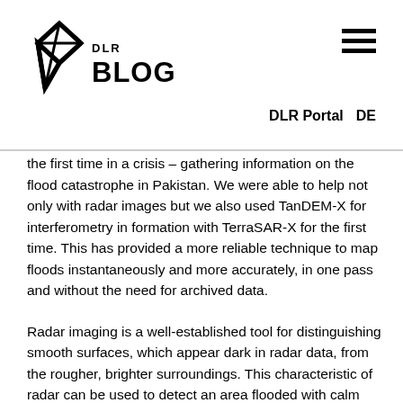DLR BLOG | DLR Portal | DE
the first time in a crisis – gathering information on the flood catastrophe in Pakistan. We were able to help not only with radar images but we also used TanDEM-X for interferometry in formation with TerraSAR-X for the first time. This has provided a more reliable technique to map floods instantaneously and more accurately, in one pass and without the need for archived data.
Radar imaging is a well-established tool for distinguishing smooth surfaces, which appear dark in radar data, from the rougher, brighter surroundings. This characteristic of radar can be used to detect an area flooded with calm water or to identify oil spills – where the water surface is flat, in contrast to the wind-induced ripples on the unpolluted sea surface. However, apart from calm water, fields or streets may also appear dark in